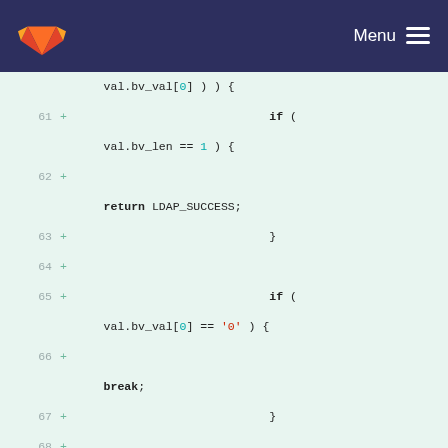GitLab Menu
[Figure (screenshot): GitLab code diff view showing lines 61-72 of a C source file with added lines (+) showing LDAP boolean value parsing logic including if statements checking val.bv_len == 1, return LDAP_SUCCESS, if val.bv_val[0] == '0' break, val.bv_val++, val.bv_len--, and while ( OID_LEADCHAR( val.bv val[0] )) {]